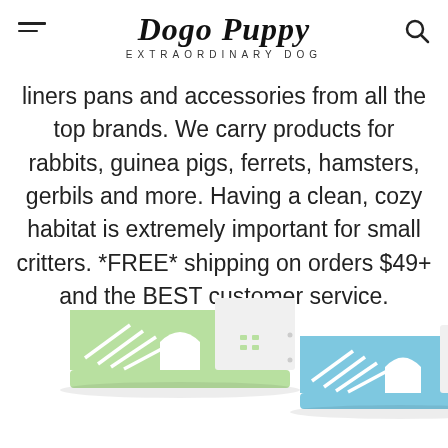Dogo Puppy EXTRAORDINARY DOG
liners pans and accessories from all the top brands. We carry products for rabbits, guinea pigs, ferrets, hamsters, gerbils and more. Having a clean, cozy habitat is extremely important for small critters. *FREE* shipping on orders $49+ and the BEST customer service.
[Figure (photo): Two small animal wooden habitat houses/playsets — one green and one blue — with ramp/slide attachments and arch doorways, displayed on white background.]